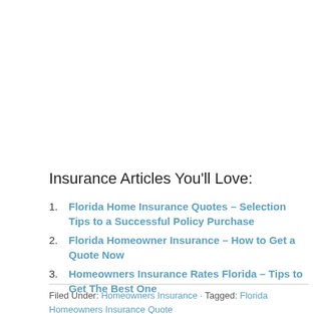Insurance Articles You'll Love:
Florida Home Insurance Quotes – Selection Tips to a Successful Policy Purchase
Florida Homeowner Insurance – How to Get a Quote Now
Homeowners Insurance Rates Florida – Tips to Get The Best One
Filed Under: Homeowners Insurance · Tagged: Florida Homeowners Insurance Quote